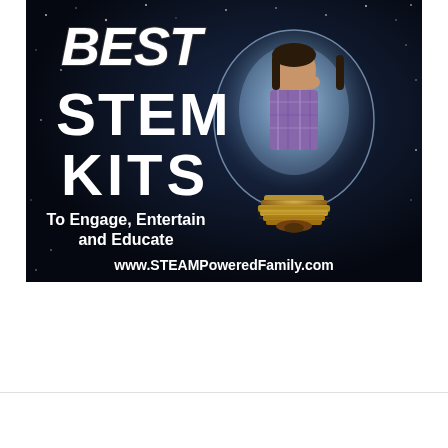[Figure (illustration): Promotional image for Best STEM Kits featuring a child inside a large glowing light bulb against a dark starry background. Text overlay reads: BEST STEM KITS, To Engage, Entertain and Educate, www.STEAMPoweredFamily.com]